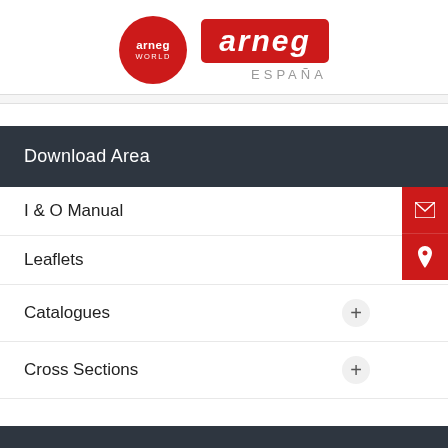[Figure (logo): Arneg World circular red logo and Arneg España rectangular logo]
Download Area
I & O Manual
Leaflets
Catalogues
Cross Sections